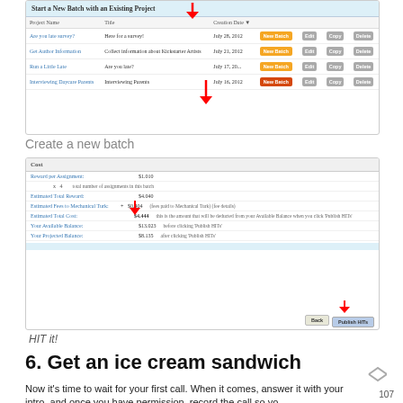[Figure (screenshot): Screenshot of 'Start a New Batch with an Existing Project' interface showing a table with Project Name, Title, Creation Date columns and New Batch/Edit/Copy/Delete buttons for four projects: Are you late survey?, Get Author Information, Run a Little Late, Interviewing Daycare Parents. A red arrow points to a New Batch button.]
Create a new batch
[Figure (screenshot): Screenshot of cost summary showing Reward per Assignment $1.010, x 4 (total number of assignments in this batch), Estimated Total Reward $4.040, Estimated Fees to Mechanical Turk $0.404, Estimated Total Cost $4.444, Your Available Balance $13.023 (before clicking Publish HITs), Your Projected Balance $8.135 (after clicking Publish HITs). Back and Publish HITs buttons shown. Red arrows point to Estimated Total Cost and Publish HITs button.]
HIT it!
6. Get an ice cream sandwich
Now it's time to wait for your first call. When it comes, answer it with your intro, and once you have permission, record the call so yo...